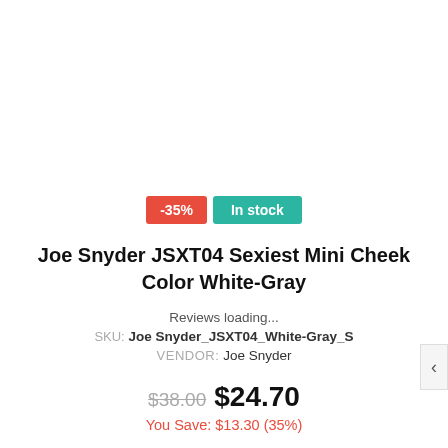-35% | In stock
Joe Snyder JSXT04 Sexiest Mini Cheek Color White-Gray
Reviews loading...
SKU: Joe Snyder_JSXT04_White-Gray_S
VENDOR: Joe Snyder
$38.00 $24.70
You Save: $13.30 (35%)